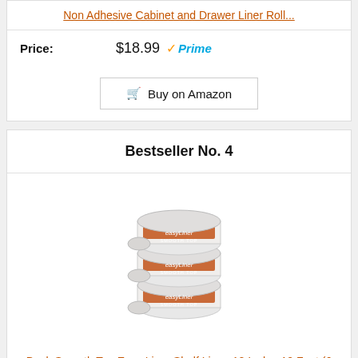Non Adhesive Cabinet and Drawer Liner Roll...
Price: $18.99 Prime
Buy on Amazon
Bestseller No. 4
[Figure (photo): Stack of 6 EasyLiner Smooth Top shelf liner rolls in white with orange/brown accent bands]
Duck Smooth Top Easy Liner Shelf Liner, 12 Inch x 10 Feet (6 Rolls), White